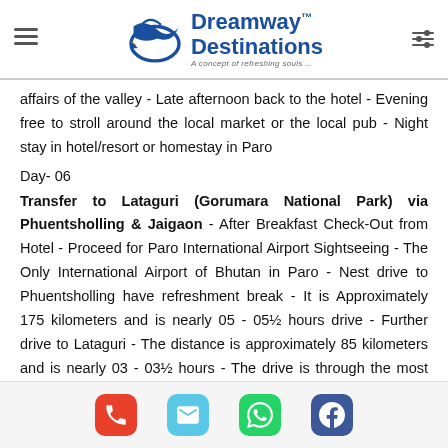Dreamway Destinations - A concept of refreshing souls...
affairs of the valley - Late afternoon back to the hotel - Evening free to stroll around the local market or the local pub - Night stay in hotel/resort or homestay in Paro
Day- 06
Transfer to Lataguri (Gorumara National Park) via Phuentsholling & Jaigaon - After Breakfast Check-Out from Hotel - Proceed for Paro International Airport Sightseeing - The Only International Airport of Bhutan in Paro - Nest drive to Phuentsholling have refreshment break - It is Approximately 175 kilometers and is nearly 05 - 05½ hours drive - Further drive to Lataguri - The distance is approximately 85 kilometers and is nearly 03 - 03½ hours - The drive is through the most beautiful and green belts of the region - Its rich tropical forests, innumerable hill streams cutting across the green carpet, undulating plains makes this a tourist hotspot - Gorumara
Phone | Email | WhatsApp | Facebook